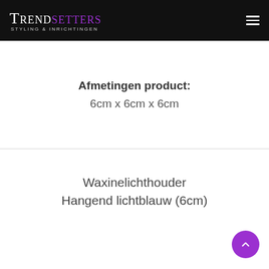TRENDSETTERS STYLING & INRICHTINGEN
Afmetingen product:
6cm x 6cm x 6cm
Waxinelichthouder Hangend lichtblauw (6cm)